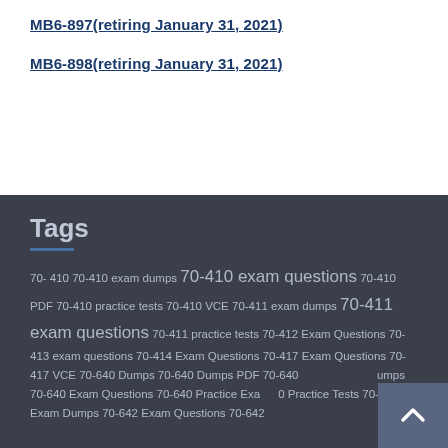MB6-897(retiring January 31, 2021)
MB6-898(retiring January 31, 2021)
Tags
70- 410 70-410 exam dumps 70-410 exam questions 70-410 PDF 70-410 practice tests 70-410 VCE 70-411 exam dumps 70-411 exam questions 70-411 practice tests 70-412 Exam Questions 70-413 exam questions 70-414 Exam Questions 70-417 Exam Questions 70-417 VCE 70-640 Dumps 70-640 Dumps PDF 70-640 Dumps 70-640 Exam Questions 70-640 Practice Exa 70-640 Practice Tests 70-642 Exam Dumps 70-642 Exam Questions 70-642